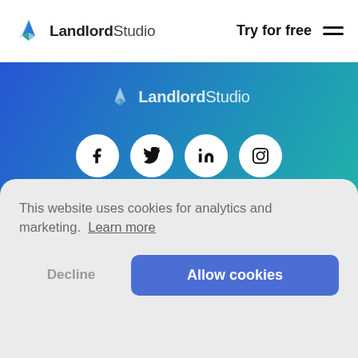LandlordStudio — Try for free
[Figure (logo): LandlordStudio logo with blue/green chevron icon and bold text in gradient footer area]
[Figure (infographic): Row of four white circular social media icons: Facebook, Twitter, LinkedIn, Instagram]
Useful Links
This website uses cookies for analytics and marketing. Learn more
Decline | Allow cookies